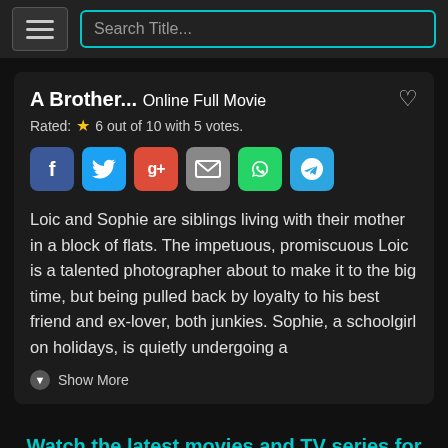Search Title...
A Brother... Online Full Movie
Rated: ★ 6 out of 10 with 5 votes.
[Figure (infographic): Social sharing icons: Facebook, Twitter, Google+, Email, WhatsApp, Telegram]
Loic and Sophie are siblings living with their mother in a block of flats. The impetuous, promiscuous Loic is a talented photographer about to make it to the big time, but being pulled back by loyalty to his best friend and ex-lover, both junkies. Sophie, a schoolgirl on holidays, is quietly undergoing a
Show More
Watch the latest movies and TV series for free without registration!